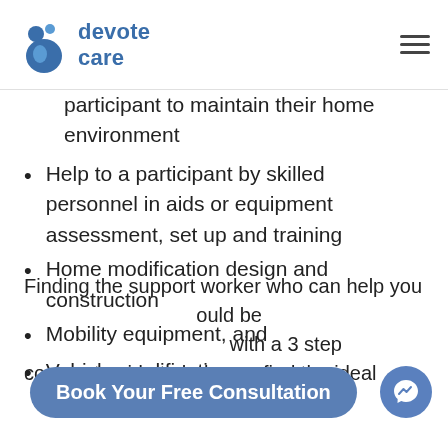devote care
participant to maintain their home environment
Help to a participant by skilled personnel in aids or equipment assessment, set up and training
Home modification design and construction
Mobility equipment, and
Vehicle modifications.
Finding the support worker who can help you [ould be [with a 3 step compact guide to help you find the ideal
Book Your Free Consultation